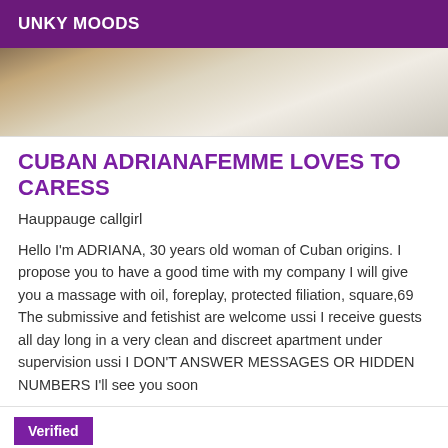UNKY MOODS
[Figure (photo): Partial view of a bed with white linens and pillows]
CUBAN ADRIANAFEMME LOVES TO CARESS
Hauppauge callgirl
Hello I'm ADRIANA, 30 years old woman of Cuban origins. I propose you to have a good time with my company I will give you a massage with oil, foreplay, protected filiation, square,69 The submissive and fetishist are welcome ussi I receive guests all day long in a very clean and discreet apartment under supervision ussi I DON'T ANSWER MESSAGES OR HIDDEN NUMBERS I'll see you soon
Verified